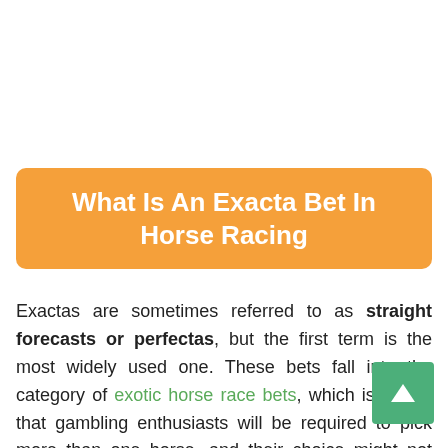What Is An Exacta Bet In Horse Racing
Exactas are sometimes referred to as straight forecasts or perfectas, but the first term is the most widely used one. These bets fall into the category of exotic horse race bets, which is to say that gambling enthusiasts will be required to pick more than one horse, and their choice might not necessarily be limited to a single race.

When placing exacta bets in horse racing, gambling